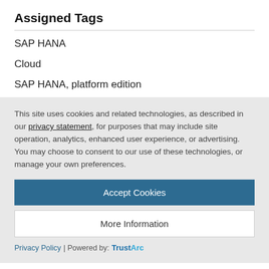Assigned Tags
SAP HANA
Cloud
SAP HANA, platform edition
This site uses cookies and related technologies, as described in our privacy statement, for purposes that may include site operation, analytics, enhanced user experience, or advertising. You may choose to consent to our use of these technologies, or manage your own preferences.
Accept Cookies
More Information
Privacy Policy | Powered by: TrustArc
Similar Blog Posts